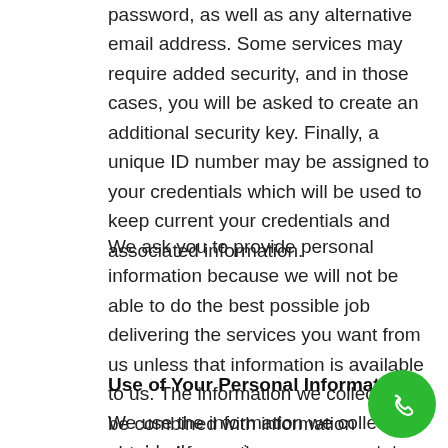password, as well as any alternative email address. Some services may require added security, and in those cases, you will be asked to create an additional security key. Finally, a unique ID number may be assigned to your credentials which will be used to keep current your credentials and associated information.
We ask you to provide personal information because we will not be able to do the best possible job delivering the services you want from us unless that information is available to us. The information we collect may be combined with information obtained from other sources, including our own companies, affiliates and partners.
Use of Your Personal Information
We use the information we collect to provide the services you request, to improve our services, and to
[Figure (other): Green circular phone/call button icon in bottom right corner]